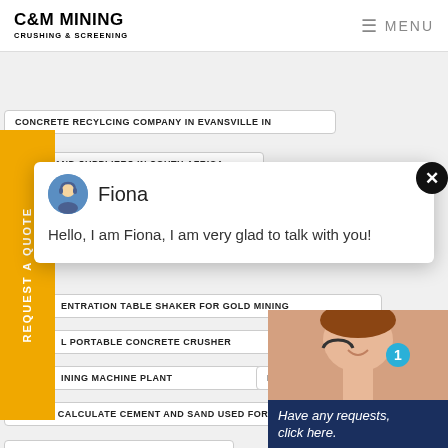C&M MINING CRUSHING & SCREENING | MENU
CONCRETE RECYLCING COMPANY IN EVANSVILLE IN
RIVER SAND SUPPLIERS IN SOUTH AFRICA
OREDGING MACHINE IN SOUTH AFRICA
Fiona
Hello, I am Fiona, I am very glad to talk with you!
ENTRATION TABLE SHAKER FOR GOLD MINING
L PORTABLE CONCRETE CRUSHER
M MO
INING MACHINE PLANT
LEONARDS MILL S
HOW TO CALCULATE CEMENT AND SAND USED FOR B
MILLING EQUIPMENT BALL MILL
Have any requests, click here.
Quotation